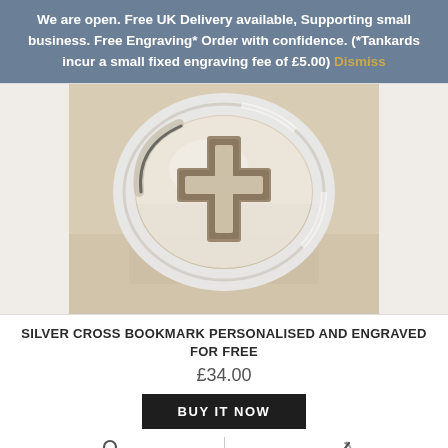We are open. Free UK Delivery available, Supporting small business. Free Engraving* Order with confidence. (*Tankards incur a small fixed engraving fee of £5.00) Dismiss
[Figure (photo): Silver cross bookmark — an oval silver bookmark with a cut-out Christian cross design, resting on a light brown surface.]
SILVER CROSS BOOKMARK PERSONALISED AND ENGRAVED FOR FREE
£34.00
BUY IT NOW